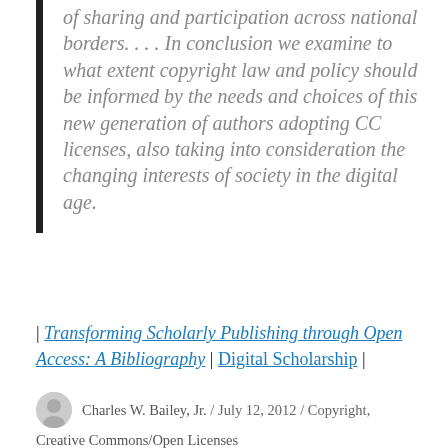of sharing and participation across national borders. . . . In conclusion we examine to what extent copyright law and policy should be informed by the needs and choices of this new generation of authors adopting CC licenses, also taking into consideration the changing interests of society in the digital age.
| Transforming Scholarly Publishing through Open Access: A Bibliography | Digital Scholarship |
Charles W. Bailey, Jr. / July 12, 2012 / Copyright, Creative Commons/Open Licenses